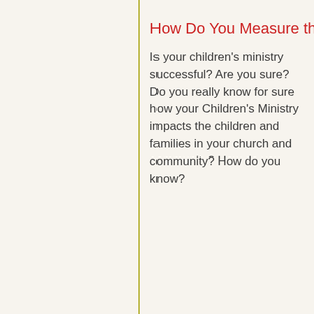How Do You Measure the
Is your children's ministry successful? Are you sure? Do you really know for sure how your Children's Ministry impacts the children and families in your church and community? How do you know?